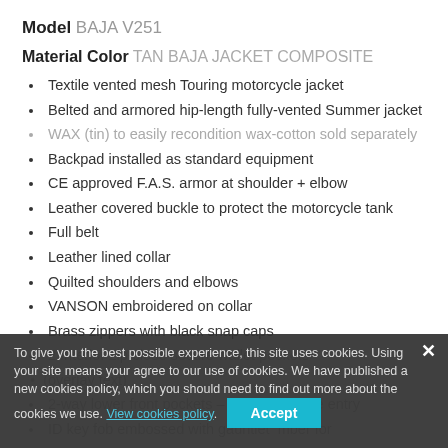Model BAJA V251
Material Color TAN BAJA JACKET COMPOSITE
Textile vented mesh Touring motorcycle jacket
Belted and armored hip-length fully-vented Summer jacket
WAX (tin) to easily recondition wax-cotton sold separately
Backpad installed as standard equipment
CE approved F.A.S. armor at shoulder + elbow
Leather covered buckle to protect the motorcycle tank
Full belt
Leather lined collar
Quilted shoulders and elbows
VANSON embroidered on collar
Brass zippers with black snap caps
2 Interior zip-close secure wallet pockets
2-way lower front pockets – top loading outside entry
ID key fob embossed with gauntlet number for
To give you the best possible experience, this site uses cookies. Using your site means your agree to our use of cookies. We have published a new cookies policy, which you should need to find out more about the cookies we use. View cookies policy. Accept